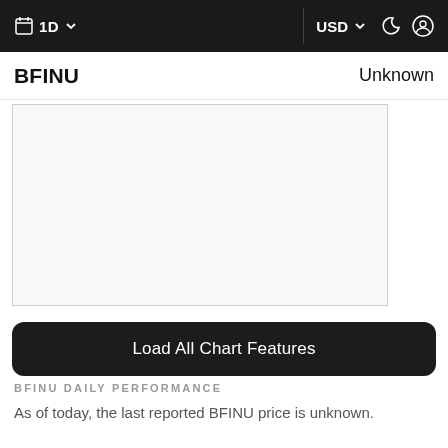1D  USD
BFINU    Unknown
[Figure (other): Empty chart area with white/light gray background and border, no data displayed]
Load All Chart Features
BFINU DAILY PERFORMANCE
As of today, the last reported BFINU price is unknown.